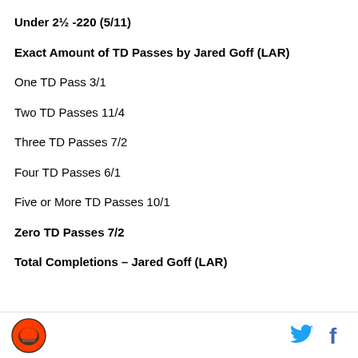Under 2½ -220 (5/11)
Exact Amount of TD Passes by Jared Goff (LAR)
One TD Pass 3/1
Two TD Passes 11/4
Three TD Passes 7/2
Four TD Passes 6/1
Five or More TD Passes 10/1
Zero TD Passes 7/2
Total Completions – Jared Goff (LAR)
Cleveland Browns logo, Twitter icon, Facebook icon